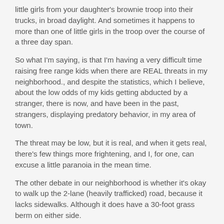little girls from your daughter's brownie troop into their trucks, in broad daylight. And sometimes it happens to more than one of little girls in the troop over the course of a three day span.
So what I'm saying, is that I'm having a very difficult time raising free range kids when there are REAL threats in my neighborhood., and despite the statistics, which I believe, about the low odds of my kids getting abducted by a stranger, there is now, and have been in the past, strangers, displaying predatory behavior, in my area of town.
The threat may be low, but it is real, and when it gets real, there's few things more frightening, and I, for one, can excuse a little paranoia in the mean time.
The other debate in our neighborhood is whether it's okay to walk up the 2-lane (heavily trafficked) road, because it lacks sidewalks. Although it does have a 30-foot grass berm on either side.
rambling done.